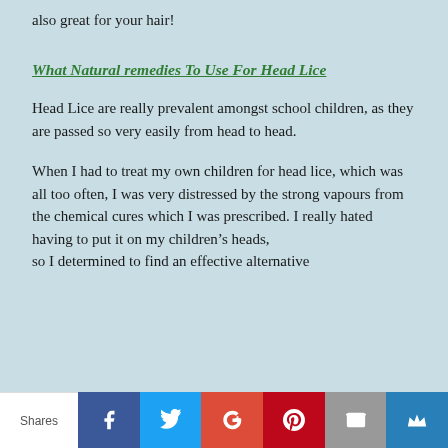also great for your hair!
What Natural remedies To Use For Head Lice
Head Lice are really prevalent amongst school children, as they are passed so very easily from head to head.
When I had to treat my own children for head lice, which was all too often, I was very distressed by the strong vapours from the chemical cures which I was prescribed. I really hated having to put it on my children's heads, so I determined to find an effective alternative
Shares | Facebook | Twitter | Google+ | Pinterest | Email | Crown